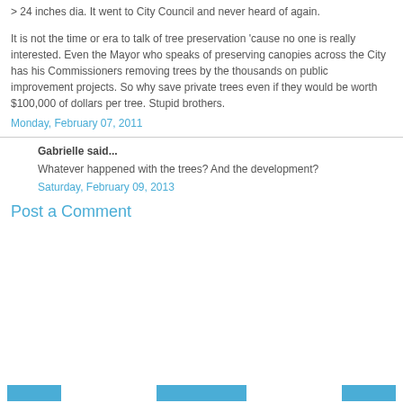> 24 inches dia. It went to City Council and never heard of again.
It is not the time or era to talk of tree preservation 'cause no one is really interested. Even the Mayor who speaks of preserving canopies across the City has his Commissioners removing trees by the thousands on public improvement projects. So why save private trees even if they would be worth $100,000 of dollars per tree. Stupid brothers.
Monday, February 07, 2011
Gabrielle said...
Whatever happened with the trees? And the development?
Saturday, February 09, 2013
Post a Comment